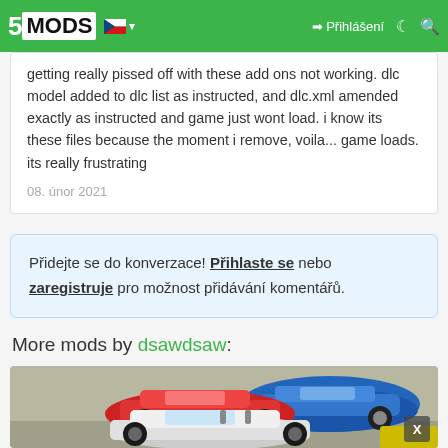5MODS | Přihlášení
getting really pissed off with these add ons not working. dlc model added to dlc list as instructed, and dlc.xml amended exactly as instructed and game just wont load. i know its these files because the moment i remove, voila... game loads. its really frustrating
08. únor 2021
Přidejte se do konverzace! Přihlaste se nebo zaregistruje pro možnost přidávání komentářů.
More mods by dsawdsaw:
[Figure (photo): Three Ferrari sports cars in blue, red, and white, parked on a track - a mod showcase image from 5MODS]